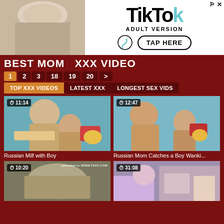[Figure (screenshot): TikTok Adult Version advertisement banner with tap here button]
BEST MOM  XXX VIDEO
1  2  3  18  19  20  >
TOP XXX VIDEOS  LATEST XXX  LONGEST SEX VIDS
[Figure (screenshot): Video thumbnail: 11:14 duration - Russian Milf with Boy]
Russian Milf with Boy
[Figure (screenshot): Video thumbnail: 12:47 duration - Russian Mom Catches a Boy Wanki...]
Russian Mom Catches a Boy Wanki...
[Figure (screenshot): Video thumbnail: 10:20 duration with watermark uploaded to WWW.TXXX.COM]
[Figure (screenshot): Video thumbnail: 31:08 duration]